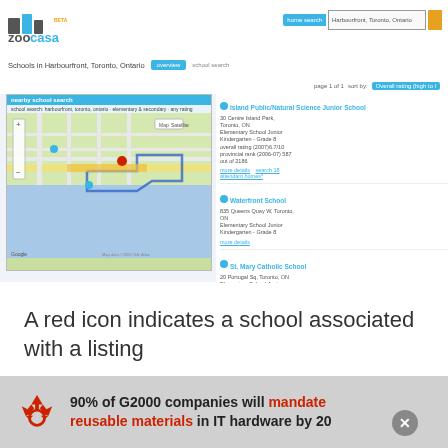[Figure (screenshot): Screenshot of Zoocasa website showing school search results for Harbourfront, Toronto, Ontario with a Google Map and school listings on the right side including Island Public/Natural Science Junior School, Waterfront School, St. Mary Catholic School, and City School.]
A red icon indicates a school associated with a listing
[Figure (infographic): Advertisement banner: 90% of G2000 companies will mandate reusable materials in IT hardware by 2025, with recycling icon and close button.]